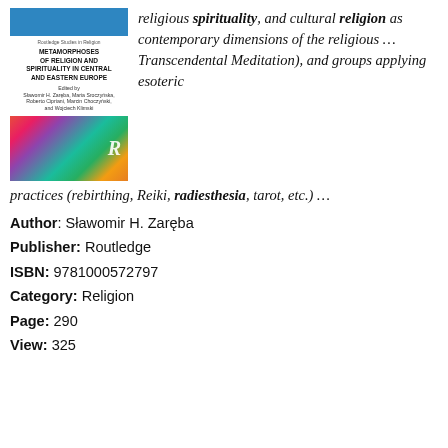[Figure (illustration): Book cover of 'Metamorphoses of Religion and Spirituality in Central and Eastern Europe' published by Routledge, with a colorful abstract image and the Routledge R logo.]
religious spirituality, and cultural religion as contemporary dimensions of the religious ... Transcendental Meditation), and groups applying esoteric practices (rebirthing, Reiki, radiesthesia, tarot, etc.) ...
Author: Sławomir H. Zaręba
Publisher: Routledge
ISBN: 9781000572797
Category: Religion
Page: 290
View: 325